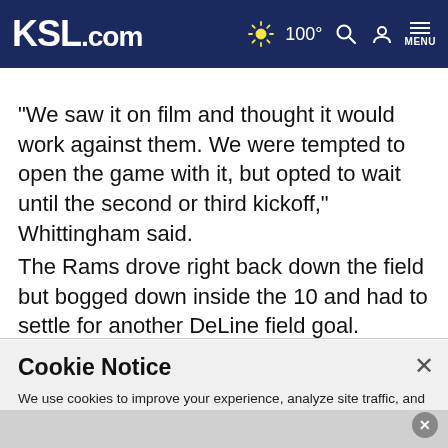KSL.com  100°  🔍  👤  MENU
"We saw it on film and thought it would work against them. We were tempted to open the game with it, but opted to wait until the second or third kickoff," Whittingham said.
The Rams drove right back down the field but bogged down inside the 10 and had to settle for another DeLine field goal.
Cookie Notice
We use cookies to improve your experience, analyze site traffic, and to personalize content and ads. By continuing to use our site, you consent to our use of cookies. Please visit our Terms of Use and Privacy Policy for more information.